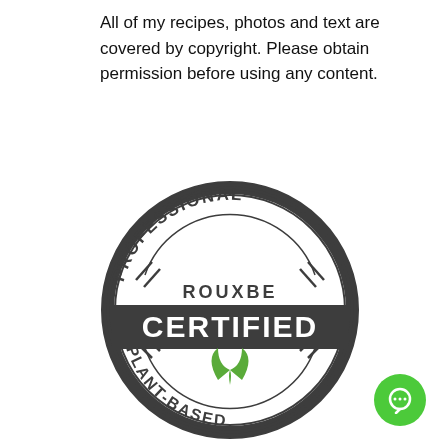All of my recipes, photos and text are covered by copyright. Please obtain permission before using any content.
[Figure (logo): Rouxbe Professional Plant-Based Certified badge: circular dark gray seal with outer ring, text 'PROFESSIONAL' arched along top, 'PLANT-BASED' arched along bottom, 'ROUXBE' in the upper interior, 'CERTIFIED' in large white text on a dark band across the middle, and a green leaf icon in the lower interior.]